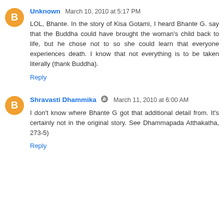Unknown  March 10, 2010 at 5:17 PM
LOL, Bhante. In the story of Kisa Gotami, I heard Bhante G. say that the Buddha could have brought the woman's child back to life, but he chose not to so she could learn that everyone experiences death. I know that not everything is to be taken literally (thank Buddha).
Reply
Shravasti Dhammika  March 11, 2010 at 6:00 AM
I don't know where Bhante G got that additional detail from. It's certainly not in the original story. See Dhammapada Atthakatha, 273-5)
Reply